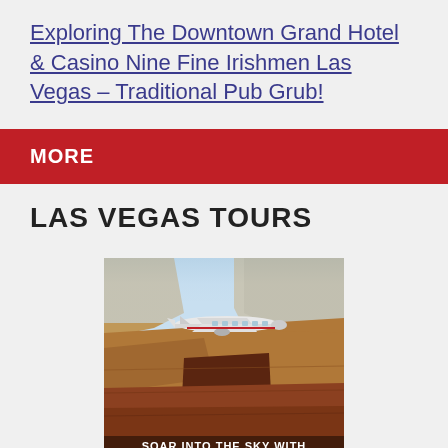Exploring The Downtown Grand Hotel & Casino Nine Fine Irishmen Las Vegas – Traditional Pub Grub!
MORE
LAS VEGAS TOURS
[Figure (photo): A small white airplane flying over the Grand Canyon with rocky canyon walls and warm-colored rock formations in the background. Text overlay at bottom reads 'SOAR INTO THE SKY WITH'.]